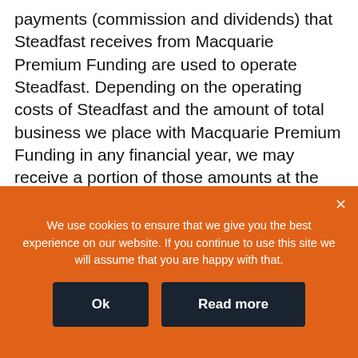payments (commission and dividends) that Steadfast receives from Macquarie Premium Funding are used to operate Steadfast. Depending on the operating costs of Steadfast and the amount of total business we place with Macquarie Premium Funding in any financial year, we may receive a portion of those amounts at the end of each financial year.
You can obtain a copy of Steadfast's FSG at
We use cookies to ensure that we give you the best experience on our website. If you continue to use this site we will assume that you are happy with that.